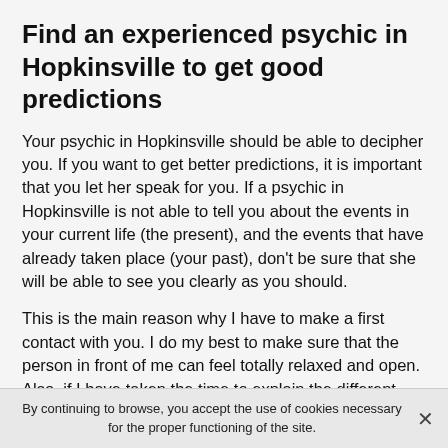Find an experienced psychic in Hopkinsville to get good predictions
Your psychic in Hopkinsville should be able to decipher you. If you want to get better predictions, it is important that you let her speak for you. If a psychic in Hopkinsville is not able to tell you about the events in your current life (the present), and the events that have already taken place (your past), don't be sure that she will be able to see you clearly as you should.
This is the main reason why I have to make a first contact with you. I do my best to make sure that the person in front of me can feel totally relaxed and open. Also, if I have taken the time to explain the different branches of clairvoyance that I touch, it is because it is important that
By continuing to browse, you accept the use of cookies necessary for the proper functioning of the site.